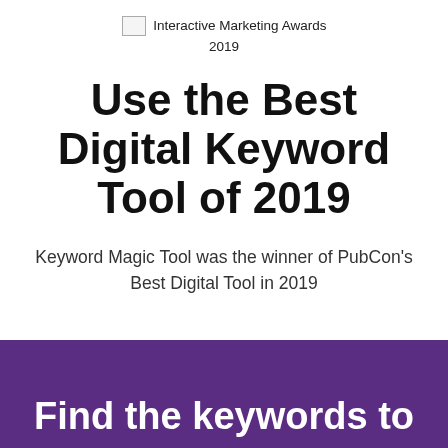[Figure (logo): Interactive Marketing Awards 2019 logo with small image placeholder icon]
Use the Best Digital Keyword Tool of 2019
Keyword Magic Tool was the winner of PubCon's Best Digital Tool in 2019
Find the keywords to